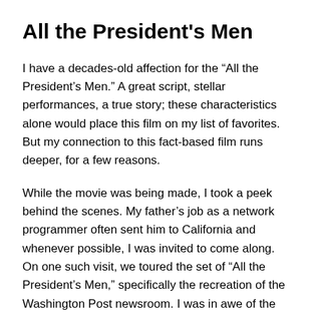All the President's Men
I have a decades-old affection for the “All the President’s Men.” A great script, stellar performances, a true story; these characteristics alone would place this film on my list of favorites. But my connection to this fact-based film runs deeper, for a few reasons.
While the movie was being made, I took a peek behind the scenes. My father’s job as a network programmer often sent him to California and whenever possible, I was invited to come along. On one such visit, we toured the set of “All the President’s Men,” specifically the recreation of the Washington Post newsroom. I was in awe of the attention to details, including time-worn office equipment, desks filled with pads, paper and gnawed pencils and